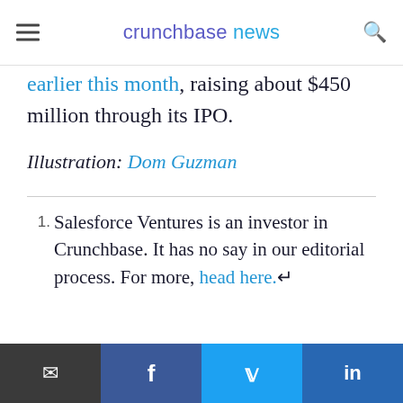crunchbase news
earlier this month, raising about $450 million through its IPO.
Illustration: Dom Guzman
1. Salesforce Ventures is an investor in Crunchbase. It has no say in our editorial process. For more, head here.↵
[Figure (other): Blue to purple gradient banner image at the bottom of the article content]
Email | Facebook | Twitter | LinkedIn social share bar